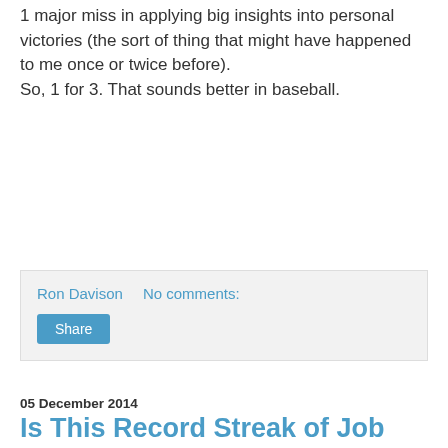1 major miss in applying big insights into personal victories (the sort of thing that might have happened to me once or twice before).
So, 1 for 3. That sounds better in baseball.
Ron Davison    No comments:
Share
05 December 2014
Is This Record Streak of Job Creation Finally Raising Wages?
Today’s job reports makes for some great facts.
In November, the American economy created 321,000 new jobs. 365,000 jobs were announced today, though, because the job creation numbers for September and October were revised upwards.